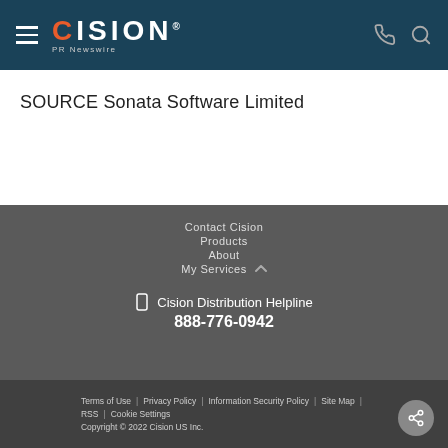CISION PR Newswire
SOURCE Sonata Software Limited
Contact Cision
Products
About
My Services
Cision Distribution Helpline
888-776-0942
Terms of Use | Privacy Policy | Information Security Policy | Site Map | RSS | Cookie Settings
Copyright © 2022 Cision US Inc.